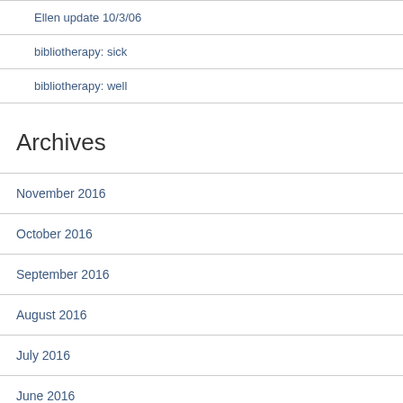Ellen update 10/3/06
bibliotherapy: sick
bibliotherapy: well
Archives
November 2016
October 2016
September 2016
August 2016
July 2016
June 2016
May 2016